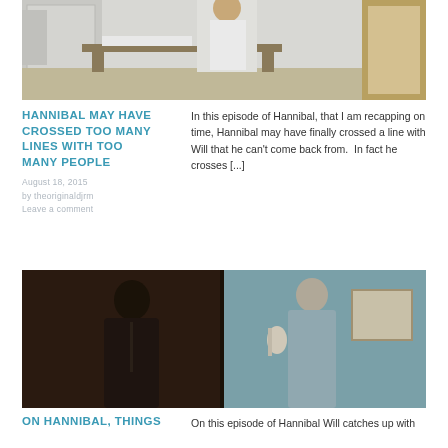[Figure (photo): A person in a white suit standing in an ornate room with a table in the background]
HANNIBAL MAY HAVE CROSSED TOO MANY LINES WITH TOO MANY PEOPLE
August 18, 2015
by theoriginaldjrm
Leave a comment
In this episode of Hannibal, that I am recapping on time, Hannibal may have finally crossed a line with Will that he can't come back from.  In fact he crosses [...]
[Figure (photo): Two people facing each other in a dark scene, split-panel composition with one person in dark clothing and another in teal/grey]
ON HANNIBAL, THINGS
On this episode of Hannibal Will catches up with